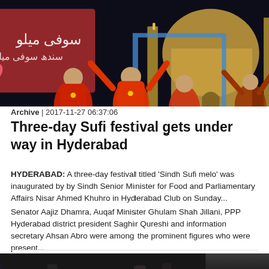[Figure (photo): Colorful Sufi festival performers in red costumes dancing in front of an illustrated backdrop showing a mosque and Sufi-themed artwork with Urdu text]
Archive  |  2017-11-27 06:37:06
Three-day Sufi festival gets under way in Hyderabad
HYDERABAD: A three-day festival titled 'Sindh Sufi melo' was inaugurated by by Sindh Senior Minister for Food and Parliamentary Affairs Nisar Ahmed Khuhro in Hyderabad Club on Sunday...
Senator Aajiz Dhamra, Auqaf Minister Ghulam Shah Jillani, PPP Hyderabad district president Saghir Qureshi and information secretary Ahsan Abro were among the prominent figures who were present...
[Figure (photo): Dark blurry photograph showing people's feet and legs at ground level, partially cropped at bottom of page]